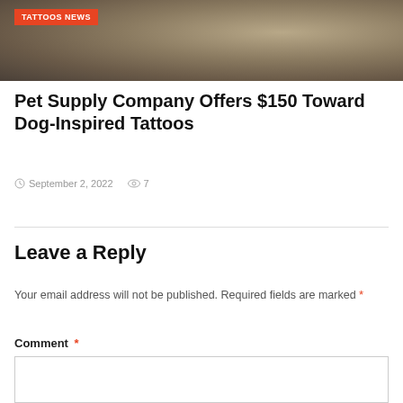[Figure (photo): Close-up photo of a dog tattoo or dog fur, used as article header image with an orange 'TATTOOS NEWS' badge overlay]
Pet Supply Company Offers $150 Toward Dog-Inspired Tattoos
September 2, 2022  7
Leave a Reply
Your email address will not be published. Required fields are marked *
Comment *